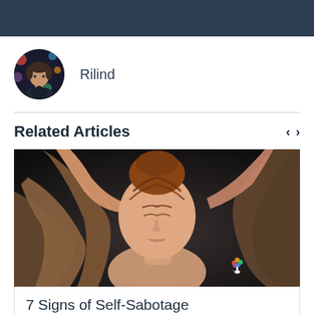[Figure (photo): Circular avatar photo of a person (Rilind) with colorful background]
Rilind
Related Articles
[Figure (photo): Photo of a young woman with red hair, eyes closed, arms raised holding her hair, with a colorful tree tattoo on her arm, dark moody background]
7 Signs of Self-Sabotage